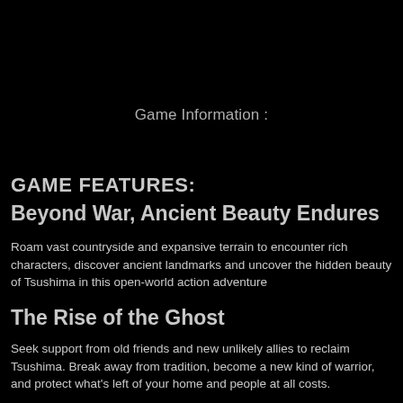Game Information :
GAME FEATURES:
Beyond War, Ancient Beauty Endures
Roam vast countryside and expansive terrain to encounter rich characters, discover ancient landmarks and uncover the hidden beauty of Tsushima in this open-world action adventure
The Rise of the Ghost
Seek support from old friends and new unlikely allies to reclaim Tsushima. Break away from tradition, become a new kind of warrior, and protect what's left of your home and people at all costs.